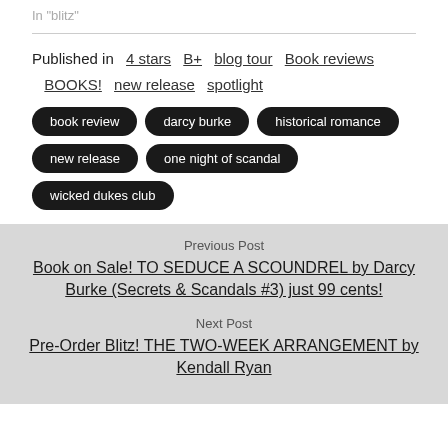In "blitz"
Published in  4 stars  B+  blog tour  Book reviews  BOOKS!  new release  spotlight
book review
darcy burke
historical romance
new release
one night of scandal
wicked dukes club
Previous Post
Book on Sale! TO SEDUCE A SCOUNDREL by Darcy Burke (Secrets & Scandals #3) just 99 cents!
Next Post
Pre-Order Blitz! THE TWO-WEEK ARRANGEMENT by Kendall Ryan